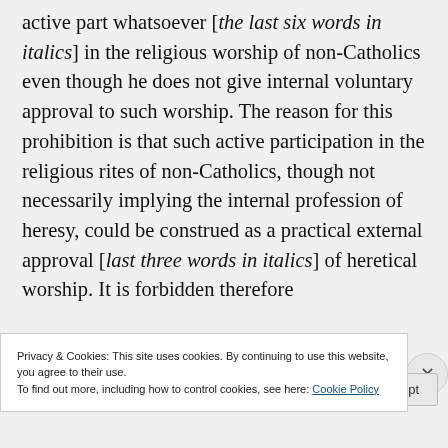active part whatsoever [the last six words in italics] in the religious worship of non-Catholics even though he does not give internal voluntary approval to such worship. The reason for this prohibition is that such active participation in the religious rites of non-Catholics, though not necessarily implying the internal profession of heresy, could be construed as a practical external approval [last three words in italics] of heretical worship. It is forbidden therefore
Privacy & Cookies: This site uses cookies. By continuing to use this website, you agree to their use. To find out more, including how to control cookies, see here: Cookie Policy